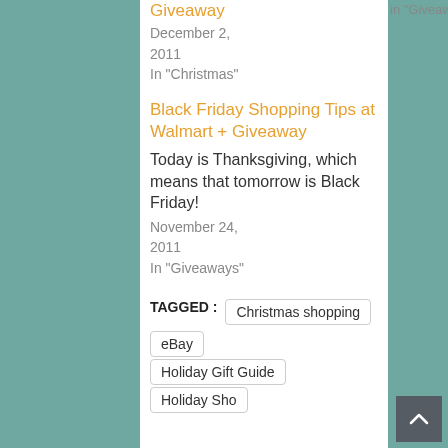Giveaway
in "Giveaways"
December 2, 2011
In "Christmas"
Black Friday Shopping Tips at Walmart + Giveaway
Today is Thanksgiving, which means that tomorrow is Black Friday!
November 24, 2011
In "Giveaways"
TAGGED : Christmas shopping  eBay  Holiday Gift Guide  Holiday Shopping